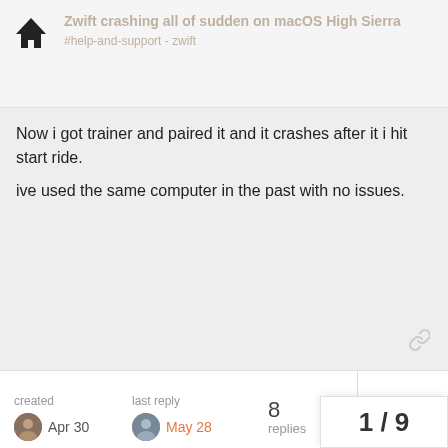Zwift crashing all of sudden on macOS High Sierra - #help-and-support - zwift
Now i got trainer and paired it and it crashes after it i hit start ride.
ive used the same computer in the past with no issues.
created Apr 30   last reply May 28   8 replies
Roule
Roule_Thoune
Apr 30
It would be helpful to know the detailed specs of the Mac and which OS you're running.
Also, be aware that earlier this year Zwift introduced some cut-offs to which GPUs are supported. That m...
(since you were able to run Zwift in watchi...
lock...
1 / 9